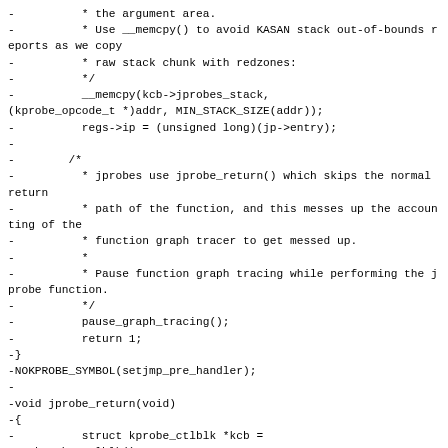-          * the argument area.
-          * Use __memcpy() to avoid KASAN stack out-of-bounds reports as we copy
-          * raw stack chunk with redzones:
-          */
-          __memcpy(kcb->jprobes_stack,
(kprobe_opcode_t *)addr, MIN_STACK_SIZE(addr));
-          regs->ip = (unsigned long)(jp->entry);
-
-        /*
-          * jprobes use jprobe_return() which skips the normal return
-          * path of the function, and this messes up the accounting of the
-          * function graph tracer to get messed up.
-          *
-          * Pause function graph tracing while performing the jprobe function.
-          */
-          pause_graph_tracing();
-          return 1;
-}
-NOKPROBE_SYMBOL(setjmp_pre_handler);
-
-void jprobe_return(void)
-{
-          struct kprobe_ctlblk *kcb =
get_kprobe_ctlblk();
-
-          /* Unpoison stack redzones in the frames